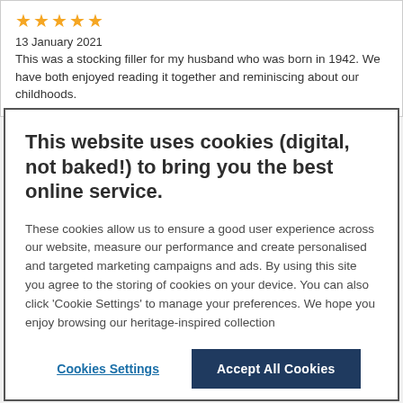★★★★★
13 January 2021
This was a stocking filler for my husband who was born in 1942. We have both enjoyed reading it together and reminiscing about our childhoods.
This website uses cookies (digital, not baked!) to bring you the best online service.
These cookies allow us to ensure a good user experience across our website, measure our performance and create personalised and targeted marketing campaigns and ads. By using this site you agree to the storing of cookies on your device. You can also click 'Cookie Settings' to manage your preferences. We hope you enjoy browsing our heritage-inspired collection
Cookies Settings
Accept All Cookies